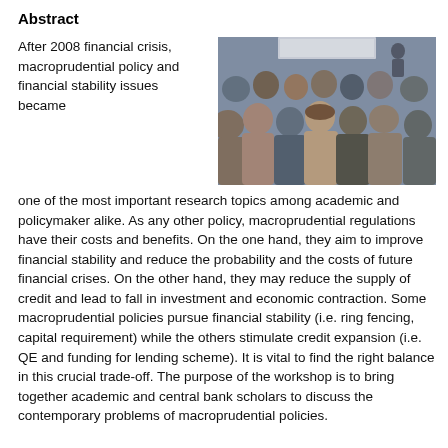Abstract
After 2008 financial crisis, macroprudential policy and financial stability issues became one of the most important research topics among academic and policymaker alike. As any other policy, macroprudential regulations have their costs and benefits. On the one hand, they aim to improve financial stability and reduce the probability and the costs of future financial crises. On the other hand, they may reduce the supply of credit and lead to fall in investment and economic contraction. Some macroprudential policies pursue financial stability (i.e. ring fencing, capital requirement) while the others stimulate credit expansion (i.e. QE and funding for lending scheme). It is vital to find the right balance in this crucial trade-off. The purpose of the workshop is to bring together academic and central bank scholars to discuss the contemporary problems of macroprudential policies.
[Figure (photo): Audience at a conference or workshop, viewed from behind, with a presentation screen visible at the front.]